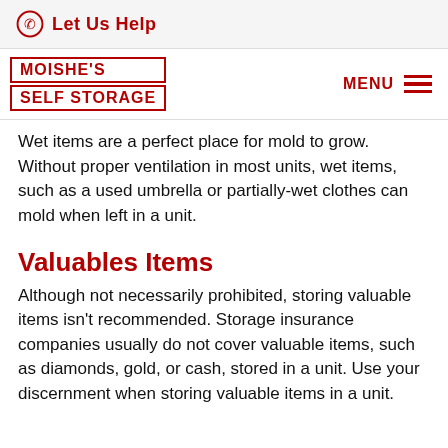Let Us Help
MOISHE'S SELF STORAGE
Wet items are a perfect place for mold to grow. Without proper ventilation in most units, wet items, such as a used umbrella or partially-wet clothes can mold when left in a unit.
Valuables Items
Although not necessarily prohibited, storing valuable items isn't recommended. Storage insurance companies usually do not cover valuable items, such as diamonds, gold, or cash, stored in a unit. Use your discernment when storing valuable items in a unit.